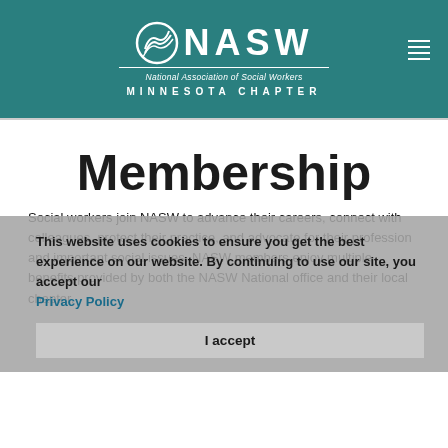[Figure (logo): NASW National Association of Social Workers Minnesota Chapter logo on teal background with menu icon]
Membership
Social workers join NASW to advance their careers, connect with colleagues, protect their practice, and advocate for their profession and important social issues. NASW members enjoy multiple benefits provided by both the NASW National office and their local chapter.
This website uses cookies to ensure you get the best experience on our website. By continuing to use our site, you accept our Privacy Policy
I accept
NASW members represent the very best of social work in academia, practice, research, and policy. Members agree to abide by the profession's Code of Ethics and to enhance their